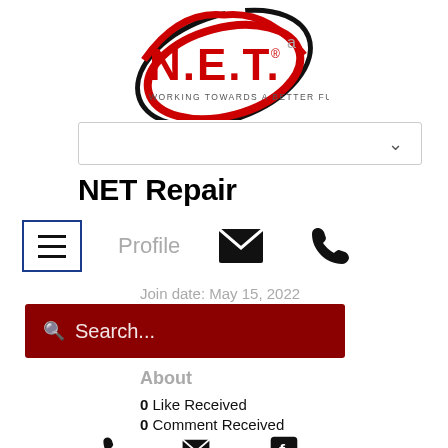[Figure (logo): N.E.T. logo — red elliptical swoosh with N.E.T. text in red and tagline WORKING TOWARDS A BETTER FUTURE, with a small 'a' superscript badge]
NET Repair
Profile
Join date: May 15, 2022
Search...
About
0 Like Received
0 Comment Received
Phone   Email   Facebook
Bitstarz australia